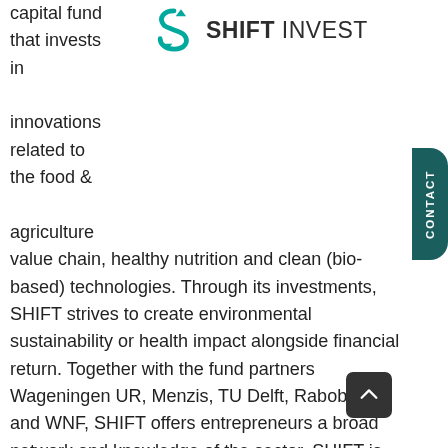[Figure (logo): SHIFT INVEST logo with teal S-shaped icon and bold text]
capital fund that invests in innovations related to the food & agriculture value chain, healthy nutrition and clean (bio-based) technologies. Through its investments, SHIFT strives to create environmental sustainability or health impact alongside financial return. Together with the fund partners Wageningen UR, Menzis, TU Delft, Rabobank and WNF, SHIFT offers entrepreneurs a broad network and knowledge of the sector. SHIFT is managed by New Balance Impact Investors (NBI), experienced investment professionals and entrepreneurs.